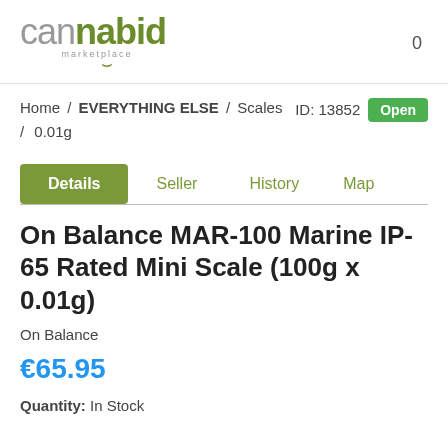cannabid marketplace  0
Home / EVERYTHING ELSE / Scales / 0.01g   ID: 13852  Open
Details   Seller   History   Map
On Balance MAR-100 Marine IP-65 Rated Mini Scale (100g x 0.01g)
On Balance
€65.95
Quantity:  In Stock